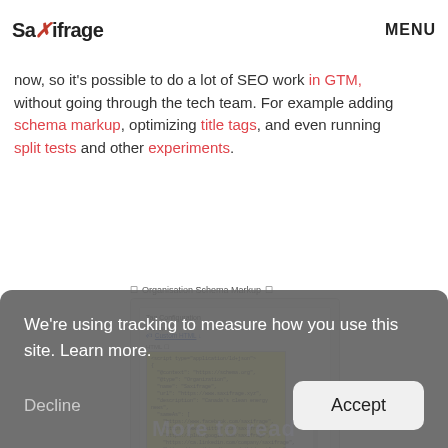Saxifrage MENU
Google Tag Manager (GTM). Google executes JavaScript now, so it's possible to do a lot of SEO work in GTM, without going through the tech team. For example adding schema markup, optimizing title tags, and even running split tests and other experiments.
[Figure (screenshot): Screenshot of a Google Tag Manager interface showing Organisation Schema Markup tag configuration with a yellow highlighted HTML/JSON code block and a red arrow pointing to it.]
We're using tracking to measure how you use this site. Learn more.
Decline
Accept
More to read